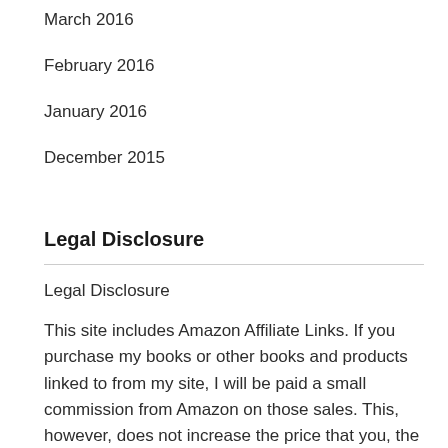March 2016
February 2016
January 2016
December 2015
Legal Disclosure
Legal Disclosure
This site includes Amazon Affiliate Links. If you purchase my books or other books and products linked to from my site, I will be paid a small commission from Amazon on those sales. This, however, does not increase the price that you, the reader, pays.